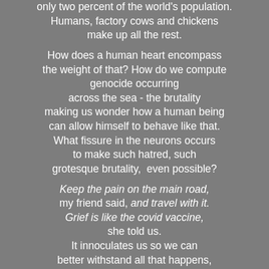only two percent of the world's population. Humans, factory cows and chickens make up all the rest.

How does a human heart encompass the weight of that? How do we compute genocide occurring across the sea - the brutality making us wonder how a human being can allow himself to behave like that. What fissure in the neurons occurs to make such hatred, such grotesque brutality,  even possible?

Keep the pain on the main road, my friend said, and travel with it. Grief is like the covid vaccine, she told us. It innoculates us so we can better withstand all that happens, all that keeps happening, no respite, even for the aged, whose hearts have stretched like pulled elastic